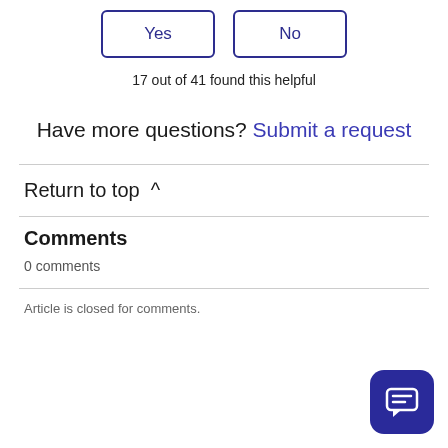[Figure (other): Yes and No voting buttons side by side with rounded rectangle borders in dark blue/indigo color]
17 out of 41 found this helpful
Have more questions? Submit a request
Return to top ^
Comments
0 comments
Article is closed for comments.
[Figure (illustration): Dark blue/indigo rounded square chat icon with a speech bubble containing horizontal lines]